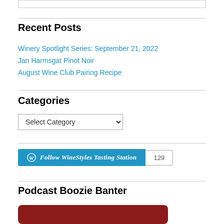Recent Posts
Winery Spotlight Series: September 21, 2022
Jan Harmsgat Pinot Noir
August Wine Club Pairing Recipe
Categories
Select Category (dropdown)
[Figure (other): Follow WineStyles Tasting Station WordPress follow button with count 129]
Podcast Boozie Banter
[Figure (other): Red rounded rectangle image for Podcast Boozie Banter]